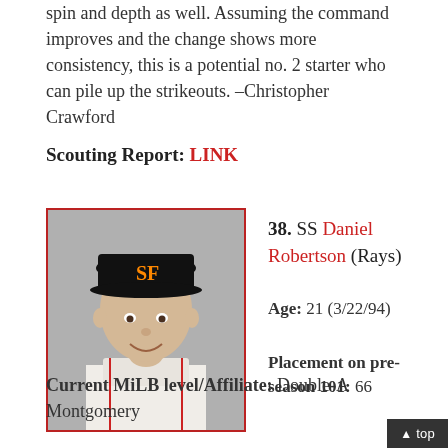spin and depth as well. Assuming the command improves and the change shows more consistency, this is a potential no. 2 starter who can pile up the strikeouts. –Christopher Crawford
Scouting Report: LINK
[Figure (photo): Headshot of baseball player Daniel Robertson wearing San Francisco Giants cap and uniform]
38. SS Daniel Robertson (Rays)
Age: 21 (3/22/94)
Placement on pre-season 101: 66
Current MiLB level/Affiliate: Double-A Montgomery